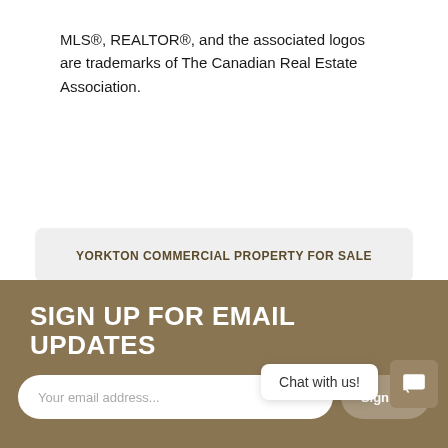MLS®, REALTOR®, and the associated logos are trademarks of The Canadian Real Estate Association.
YORKTON COMMERCIAL PROPERTY FOR SALE
SIGN UP FOR EMAIL UPDATES
Your email address...
Sign Up
Chat with us!